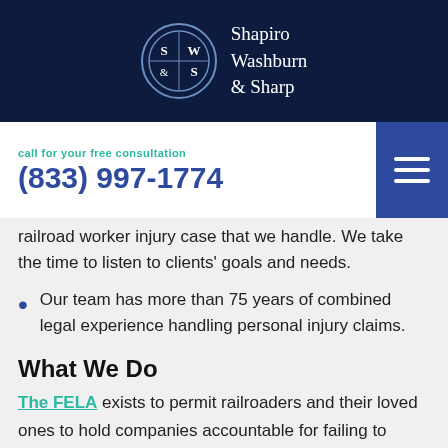Shapiro Washburn & Sharp
call for your free consultation
(833) 997-1774
railroad worker injury case that we handle. We take the time to listen to clients' goals and needs.
Our team has more than 75 years of combined legal experience handling personal injury claims.
What We Do
The FELA exists to permit railroaders and their loved ones to hold companies accountable for failing to prevent work-related injuries, deadly